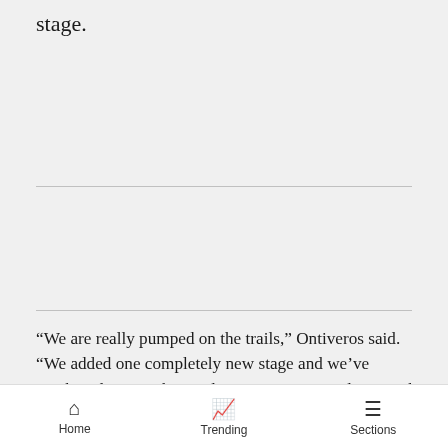stage.
“We are really pumped on the trails,” Ontiveros said. “We added one completely new stage and we’ve combined some other trails to mix into a single stage that has never been raced entirely before. We’ve kept things evolving, even after having one of the best races of the history of BME last year with the World Series here. So trails are looking really good.”
[Figure (other): Bloomingdales advertisement banner: 'bloomingdales / View Today’s Top Deals!' with a woman in a hat and 'SHOP NOW >' button]
Home   Trending   Sections